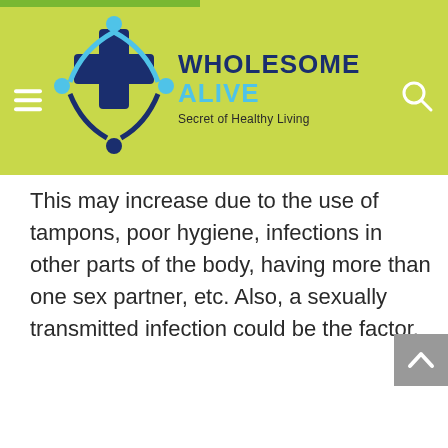WHOLESOME ALIVE — Secret of Healthy Living
This may increase due to the use of tampons, poor hygiene, infections in other parts of the body, having more than one sex partner, etc. Also, a sexually transmitted infection could be the factor.